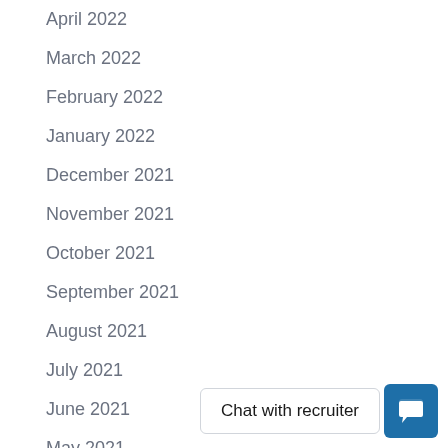April 2022
March 2022
February 2022
January 2022
December 2021
November 2021
October 2021
September 2021
August 2021
July 2021
June 2021
May 2021
Chat with recruiter